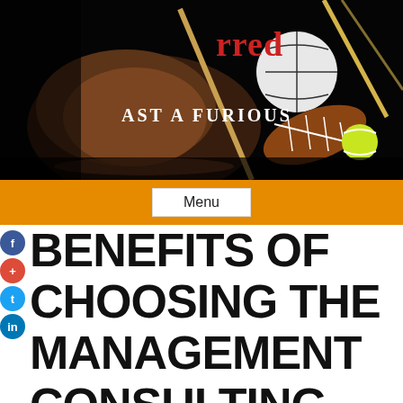[Figure (photo): Sports equipment on dark background including baseball glove, football, soccer ball, tennis ball, hockey stick, and rackets. Overlaid text reads 'red' in red and 'AST A FURIOUS' in white serif font.]
Menu
BENEFITS OF CHOOSING THE MANAGEMENT CONSULTING FIRM